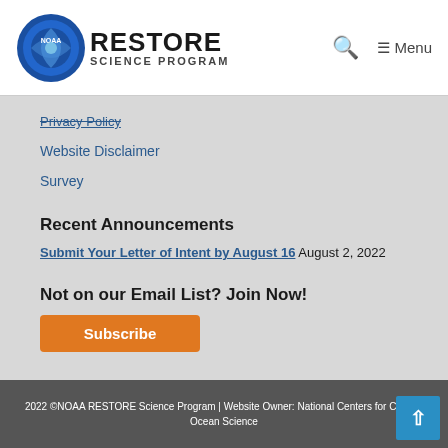NOAA RESTORE SCIENCE PROGRAM
Privacy Policy
Website Disclaimer
Survey
Recent Announcements
Submit Your Letter of Intent by August 16 August 2, 2022
Not on our Email List? Join Now!
Subscribe
2022 ©NOAA RESTORE Science Program | Website Owner: National Centers for Coastal Ocean Science